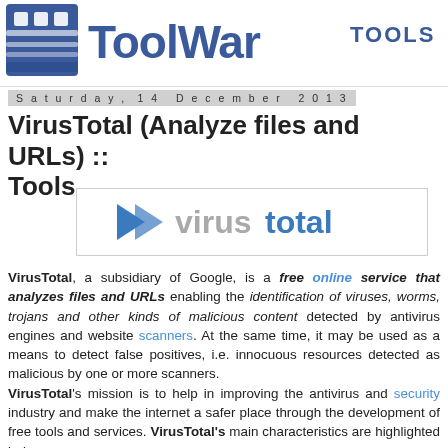ToolWar TOOLS
Saturday, 14 December 2013
VirusTotal (Analyze files and URLs) :: Tools
[Figure (logo): VirusTotal logo: blue arrow icon with 'virus' in gray and 'total' in blue text]
VirusTotal, a subsidiary of Google, is a free online service that analyzes files and URLs enabling the identification of viruses, worms, trojans and other kinds of malicious content detected by antivirus engines and website scanners. At the same time, it may be used as a means to detect false positives, i.e. innocuous resources detected as malicious by one or more scanners. VirusTotal's mission is to help in improving the antivirus and security industry and make the internet a safer place through the development of free tools and services. VirusTotal's main characteristics are highlighted below.